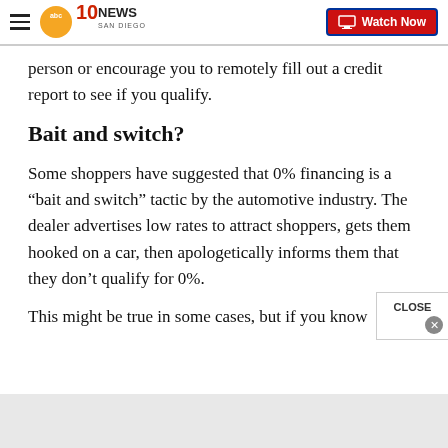10News San Diego | Watch Now
person or encourage you to remotely fill out a credit report to see if you qualify.
Bait and switch?
Some shoppers have suggested that 0% financing is a “bait and switch” tactic by the automotive industry. The dealer advertises low rates to attract shoppers, gets them hooked on a car, then apologetically informs them that they don’t qualify for 0%.
This might be true in some cases, but if you know